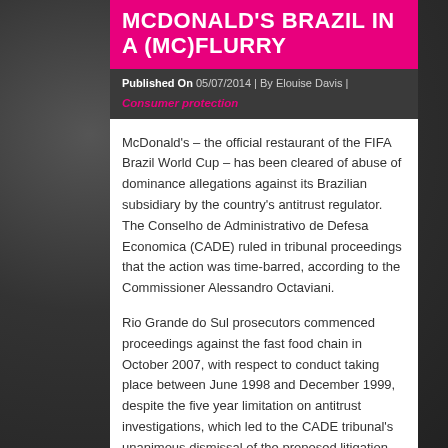McDONALD'S BRAZIL IN A (MC)FLURRY
Published On 05/07/2014 | By Elouise Davis | Consumer protection
McDonald's – the official restaurant of the FIFA Brazil World Cup – has been cleared of abuse of dominance allegations against its Brazilian subsidiary by the country's antitrust regulator. The Conselho de Administrativo de Defesa Economica (CADE) ruled in tribunal proceedings that the action was time-barred, according to the Commissioner Alessandro Octaviani.
Rio Grande do Sul prosecutors commenced proceedings against the fast food chain in October 2007, with respect to conduct taking place between June 1998 and December 1999, despite the five year limitation on antitrust investigations, which led to the CADE tribunal's unanimous dismissal of the proposed litigation. The substantive allegations were that McDonald's had abused its dominant position by...